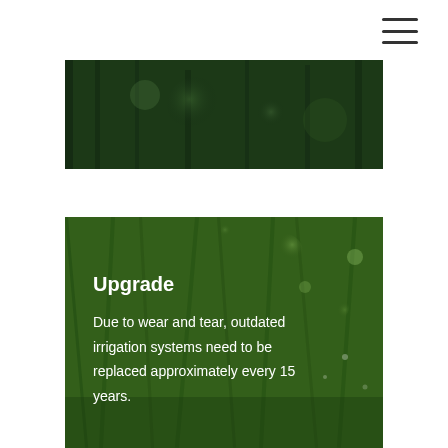[Figure (photo): Dark green blurred bokeh grass background photo at top of page]
[Figure (photo): Green grass with water droplets background photo with text overlay showing 'Upgrade' heading and description about irrigation systems]
Upgrade
Due to wear and tear, outdated irrigation systems need to be replaced approximately every 15 years.